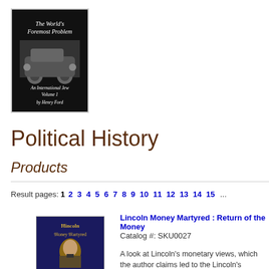[Figure (illustration): Book cover: The World's Foremost Problem, An International Jew Volume 1 by Henry Ford, with image of a vintage car]
Political History
Products
Result pages: 1 2 3 4 5 6 7 8 9 10 11 12 13 14 15 ...
[Figure (illustration): Book cover: Lincoln Money Martyred, showing portrait of Abraham Lincoln]
Lincoln Money Martyred : Return of the Money
Catalog #: SKU0027
A look at Lincoln's monetary views, which the author claims led to the Lincoln's struggle to create "greenbacks", a ne